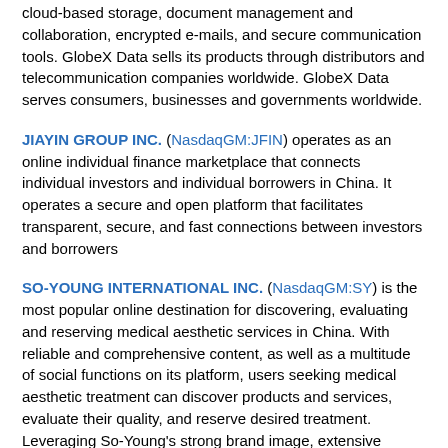cloud-based storage, document management and collaboration, encrypted e-mails, and secure communication tools. GlobeX Data sells its products through distributors and telecommunication companies worldwide. GlobeX Data serves consumers, businesses and governments worldwide.
JIAYIN GROUP INC. (NasdaqGM:JFIN) operates as an online individual finance marketplace that connects individual investors and individual borrowers in China. It operates a secure and open platform that facilitates transparent, secure, and fast connections between investors and borrowers
SO-YOUNG INTERNATIONAL INC. (NasdaqGM:SY) is the most popular online destination for discovering, evaluating and reserving medical aesthetic services in China. With reliable and comprehensive content, as well as a multitude of social functions on its platform, users seeking medical aesthetic treatment can discover products and services, evaluate their quality, and reserve desired treatment. Leveraging So-Young's strong brand image, extensive audience reach, trust from its users, highly engaging social community and data insights, the Company is well positioned to expand both along the medical aesthetic industry value chain and into the massive, fast-growing